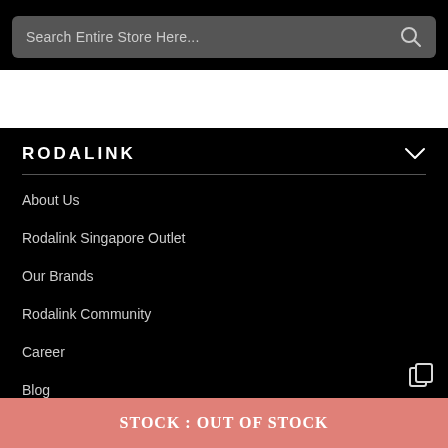[Figure (screenshot): Search bar with placeholder text 'Search Entire Store Here...' and a magnifying glass icon on dark background]
RODALINK
About Us
Rodalink Singapore Outlet
Our Brands
Rodalink Community
Career
Blog
STOCK : OUT OF STOCK